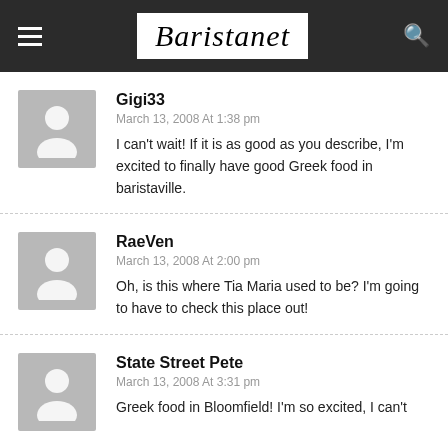Baristanet
Gigi33
March 13, 2008 At 1:38 pm
I can't wait! If it is as good as you describe, I'm excited to finally have good Greek food in baristaville.
RaeVen
March 13, 2008 At 2:00 pm
Oh, is this where Tia Maria used to be? I'm going to have to check this place out!
State Street Pete
March 13, 2008 At 3:31 pm
Greek food in Bloomfield! I'm so excited, I can't